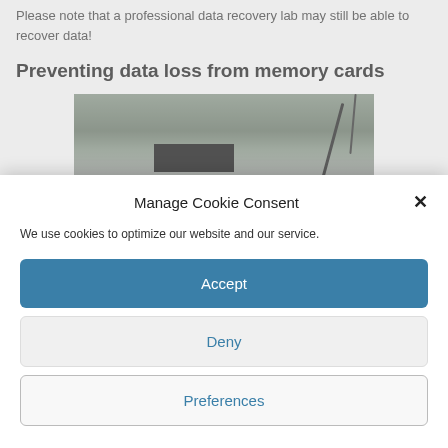Please note that a professional data recovery lab may still be able to recover data!
Preventing data loss from memory cards
[Figure (photo): Partial photo of a memory card or electronic device on a surface with cables visible]
Manage Cookie Consent
We use cookies to optimize our website and our service.
Accept
Deny
Preferences